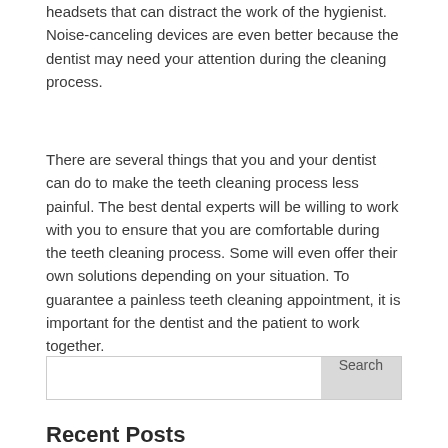headsets that can distract the work of the hygienist. Noise-canceling devices are even better because the dentist may need your attention during the cleaning process.
There are several things that you and your dentist can do to make the teeth cleaning process less painful. The best dental experts will be willing to work with you to ensure that you are comfortable during the teeth cleaning process. Some will even offer their own solutions depending on your situation. To guarantee a painless teeth cleaning appointment, it is important for the dentist and the patient to work together.
Search
Recent Posts